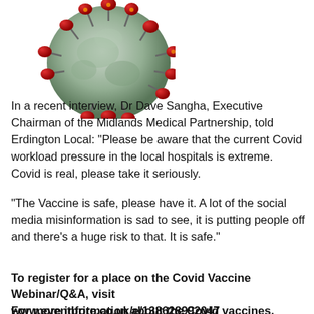[Figure (photo): Electron microscope image of coronavirus particle with red spike proteins on grey spherical body]
In a recent interview, Dr Dave Sangha, Executive Chairman of the Midlands Medical Partnership, told Erdington Local: “Please be aware that the current Covid workload pressure in the local hospitals is extreme. Covid is real, please take it seriously.
“The Vaccine is safe, please have it. A lot of the social media misinformation is sad to see, it is putting people off and there’s a huge risk to that. It is safe.”
To register for a place on the Covid Vaccine Webinar/Q&A, visit www.eventbrite.co.uk/e/138628992047
For more information about the Covid vaccines, direct from the NHS, visit